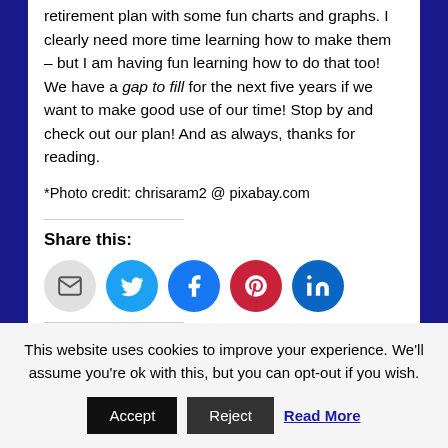retirement plan with some fun charts and graphs. I clearly need more time learning how to make them – but I am having fun learning how to do that too! We have a gap to fill for the next five years if we want to make good use of our time! Stop by and check out our plan! And as always, thanks for reading.
*Photo credit: chrisaram2 @ pixabay.com
Share this:
[Figure (infographic): Social share buttons: email (gray), Twitter (blue), Facebook (blue), Pinterest (red), LinkedIn (dark blue)]
This website uses cookies to improve your experience. We'll assume you're ok with this, but you can opt-out if you wish.